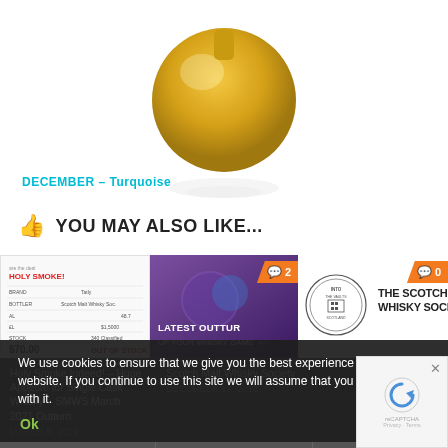[Figure (photo): Partial image of a golden/amber colored glass bottle on white background with reflection]
DECEMBER – Turquoise
YOU MAY ALSO LIKE...
[Figure (screenshot): Holy Smoke whisky product listing with price $70.00, out of stock]
[Figure (photo): Latest Outturn promotional image with orange badge showing 2 comments]
[Figure (logo): The Scotch Malt Whisky Society logo with 0 comments badge]
Holy Smoke Indeed! – Huge Appetite for Single Cask Whisky – SMWS March 2021 Outturn
Scotch Malt Whisky Society
DECEMBER 17, 2012
MARCH 5, 2021
We use cookies to ensure that we give you the best experience on our website. If you continue to use this site we will assume that you are happy with it.
Ok